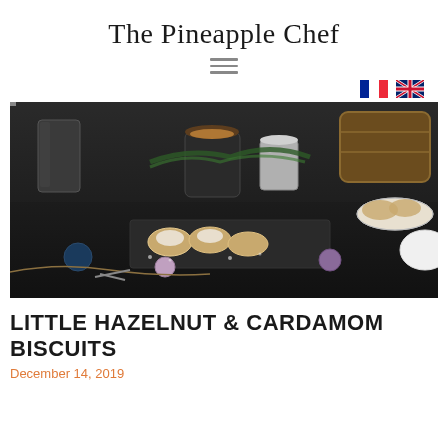The Pineapple Chef
[Figure (photo): Dark moody food photography showing hazelnut and cardamom biscuits on a black cutting board, surrounded by Christmas ornaments, a glass jar, a cup of coffee, milk, evergreen branches, and a plate of cookies in the background.]
LITTLE HAZELNUT & CARDAMOM BISCUITS
December 14, 2019